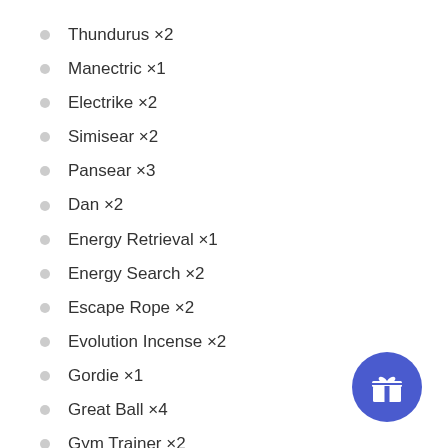Thundurus ×2
Manectric ×1
Electrike ×2
Simisear ×2
Pansear ×3
Dan ×2
Energy Retrieval ×1
Energy Search ×2
Escape Rope ×2
Evolution Incense ×2
Gordie ×1
Great Ball ×4
Gym Trainer ×2
[Figure (illustration): Blue circle button with a gift/present icon in white]